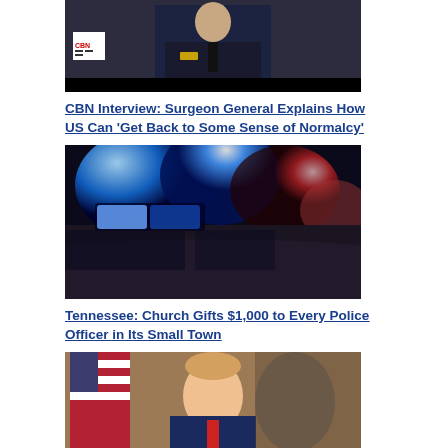[Figure (photo): Surgeon General in military uniform at podium with CBN logo visible]
CBN Interview: Surgeon General Explains How US Can 'Get Back to Some Sense of Normalcy'
[Figure (photo): Police car with blue and red emergency lights flashing at night]
Tennessee: Church Gifts $1,000 to Every Police Officer in Its Small Town
[Figure (photo): Donald Trump seated in front of American flags]